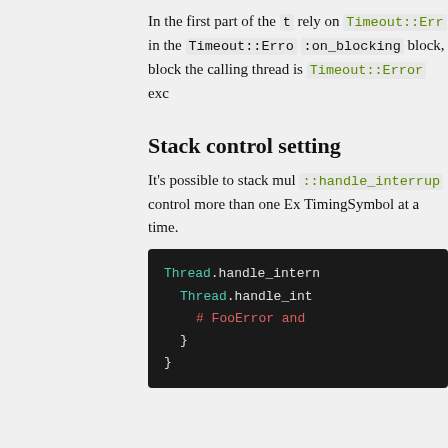In the first part of the t… rely on Timeout::Err… in the Timeout::Error :on_blocking block, block the calling thread is Timeout::Error exc…
Stack control setting…
It's possible to stack mul… ::handle_interrup… control more than one Ex… TimingSymbol at a time.
[Figure (screenshot): Code block showing Thread.handle_intern… Thread.handle_int… # FooError and … } }]